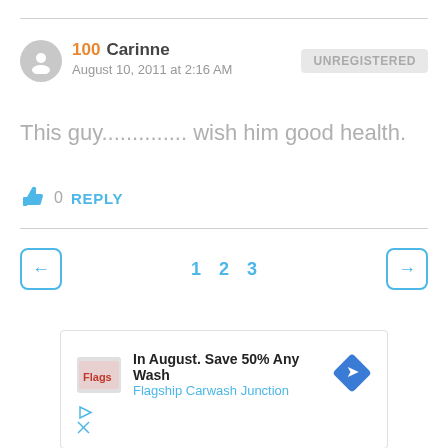100 Carinne
August 10, 2011 at 2:16 AM
UNREGISTERED
This guy.............. wish him good health.
👍 0  REPLY
← 1 2 3 →
[Figure (screenshot): Advertisement banner: In August. Save 50% Any Wash - Flagship Carwash Junction]